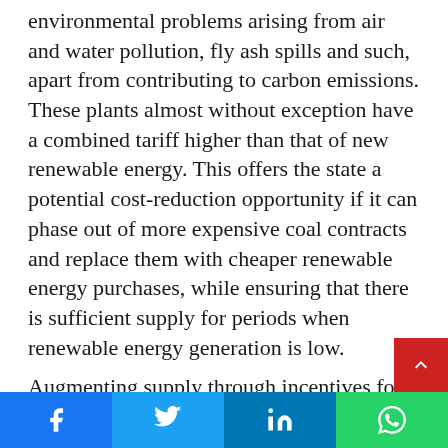environmental problems arising from air and water pollution, fly ash spills and such, apart from contributing to carbon emissions. These plants almost without exception have a combined tariff higher than that of new renewable energy. This offers the state a potential cost-reduction opportunity if it can phase out of more expensive coal contracts and replace them with cheaper renewable energy purchases, while ensuring that there is sufficient supply for periods when renewable energy generation is low.
Augmenting supply through incentives for